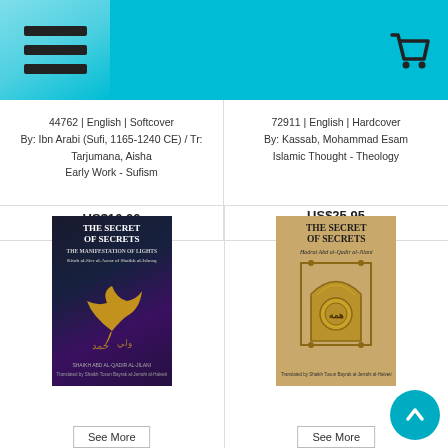Navigation header with hamburger menu and shopping cart icon
44762 | English | Softcover
By: Ibn Arabi (Sufi, 1165-1240 CE) / Tr: Tarjumana, Aisha
Early Work - Sufism
US$16.00
72911 | English | Hardcover
By: Kassab, Mohammad Esam
Islamic Thought - Theology
US$25.95
[Figure (photo): Book cover: THE SECRET OF SECRETS - dark background with golden Arabic calligraphy bird motif]
[Figure (photo): Book cover: THE SECRET OF SECRETS by Hadrat Abd al-Qadir al-Jilani - beige/tan background with ornate golden arch frame design]